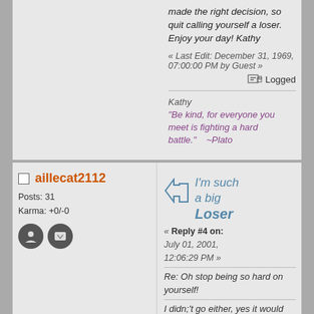made the right decision, so quit calling yourself a loser. Enjoy your day!  Kathy
« Last Edit: December 31, 1969, 07:00:00 PM by Guest »
Logged
Kathy
"Be kind, for everyone you meet is fighting a hard battle."    ~Plato
aillecat2112
Posts: 31
Karma: +0/-0
I'm such a big Loser
« Reply #4 on: July 01, 2001, 12:06:29 PM »
Re: Oh stop being so hard on yourself!
I didn;'t go either, yes it would have been nice to